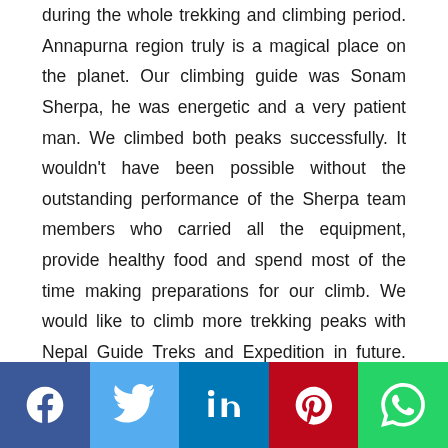during the whole trekking and climbing period. Annapurna region truly is a magical place on the planet. Our climbing guide was Sonam Sherpa, he was energetic and a very patient man. We climbed both peaks successfully. It wouldn't have been possible without the outstanding performance of the Sherpa team members who carried all the equipment, provide healthy food and spend most of the time making preparations for our climb. We would like to climb more trekking peaks with Nepal Guide Treks and Expedition in future. And to all the climbers, we
[Figure (infographic): Social media sharing buttons bar: Facebook (blue), Twitter (light blue), LinkedIn (blue), Pinterest (red), WhatsApp (green)]